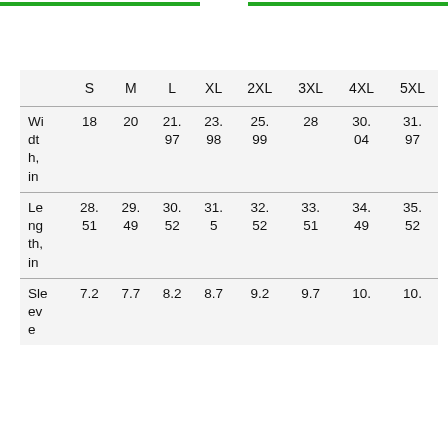|  | S | M | L | XL | 2XL | 3XL | 4XL | 5XL |
| --- | --- | --- | --- | --- | --- | --- | --- | --- |
| Width, in | 18 | 20 | 21.97 | 23.98 | 25.99 | 28 | 30.04 | 31.97 |
| Length, in | 28.51 | 29.49 | 30.52 | 31.5 | 32.52 | 33.51 | 34.49 | 35.52 |
| Sleeve | 7.2 | 7.7 | 8.2 | 8.7 | 9.2 | 9.7 | 10. | 10. |